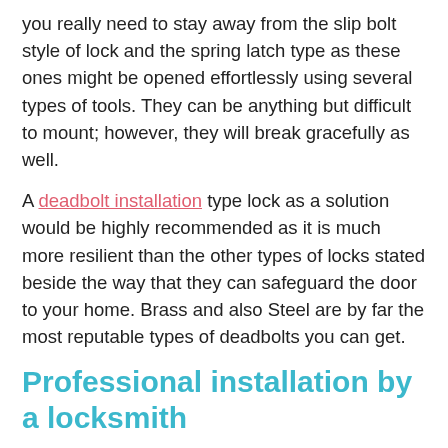you really need to stay away from the slip bolt style of lock and the spring latch type as these ones might be opened effortlessly using several types of tools. They can be anything but difficult to mount; however, they will break gracefully as well.
A deadbolt installation type lock as a solution would be highly recommended as it is much more resilient than the other types of locks stated beside the way that they can safeguard the door to your home. Brass and also Steel are by far the most reputable types of deadbolts you can get.
Professional installation by a locksmith
In addition to being determined in regards to the variety of locks you are going to get on the front door of your home, it will be well worth it to know the standards as well. It is recommended for you to verify that the locks you've selected